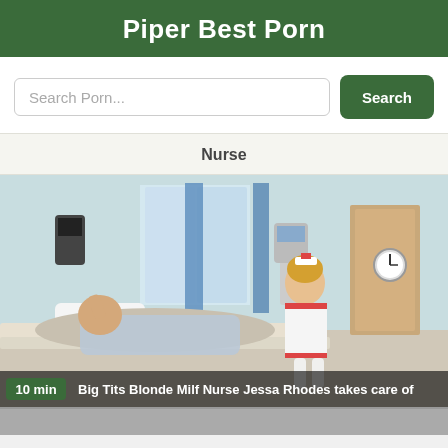Piper Best Porn
Search Porn...
Search
Nurse
[Figure (photo): Hospital room scene with a man in a patient gown lying on a bed and a woman dressed as a nurse standing beside him. Overlaid text shows duration '10 min' and title 'Big Tits Blonde Milf Nurse Jessa Rhodes takes care of']
10 min — Big Tits Blonde Milf Nurse Jessa Rhodes takes care of